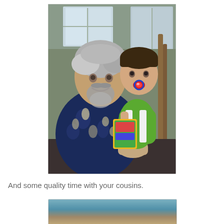[Figure (photo): An older man with gray hair and a gray beard wearing a dark blue Hawaiian floral shirt sits holding a young toddler in a green sleeveless shirt with a red pacifier in their mouth. The toddler is holding a colorful book or toy. They appear to be indoors near a window with wooden accents visible in the background.]
And some quality time with your cousins.
[Figure (photo): Partial view of a second photograph at the bottom of the page, showing what appears to be an outdoor scene with blue sky and a person, cropped by the page edge.]